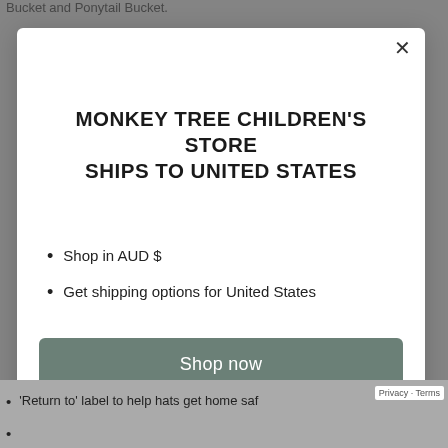Bucket and Ponytail Bucket.
MONKEY TREE CHILDREN'S STORE SHIPS TO UNITED STATES
Shop in AUD $
Get shipping options for United States
Shop now
Change shipping cou
Chat with us
'Return to' label to help hats get home saf
Privacy · Terms